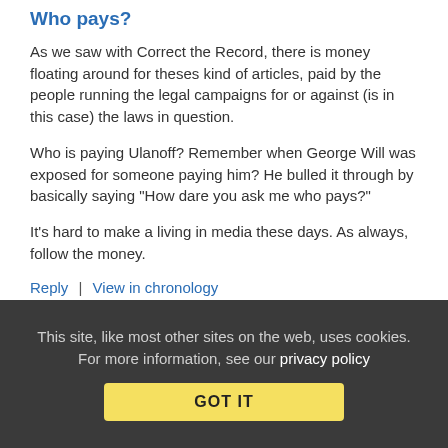Who pays?
As we saw with Correct the Record, there is money floating around for theses kind of articles, paid by the people running the legal campaigns for or against (is in this case) the laws in question.
Who is paying Ulanoff? Remember when George Will was exposed for someone paying him? He bulled it through by basically saying "How dare you ask me who pays?"
It's hard to make a living in media these days. As always, follow the money.
Reply | View in chronology
[Figure (other): Row of five icon buttons: a comment/chat icon, a code/terminal icon, a quote icon, a second quote icon, and a flag/bookmark icon]
This site, like most other sites on the web, uses cookies. For more information, see our privacy policy
GOT IT